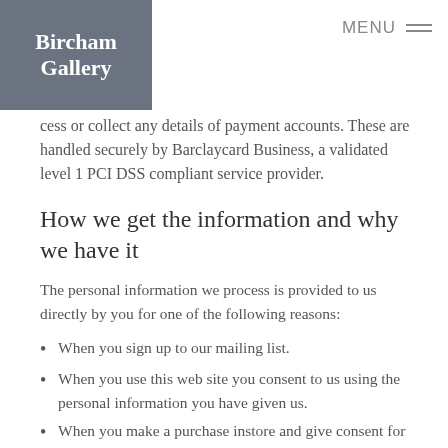Bircham Gallery | MENU
cess or collect any details of payment accounts. These are handled securely by Barclaycard Business, a validated level 1 PCI DSS compliant service provider.
How we get the information and why we have it
The personal information we process is provided to us directly by you for one of the following reasons:
When you sign up to our mailing list.
When you use this web site you consent to us using the personal information you have given us.
When you make a purchase instore and give consent for us to record your contact details.
Under the General Data Protection Regulation (GDPR), the lawful bases we